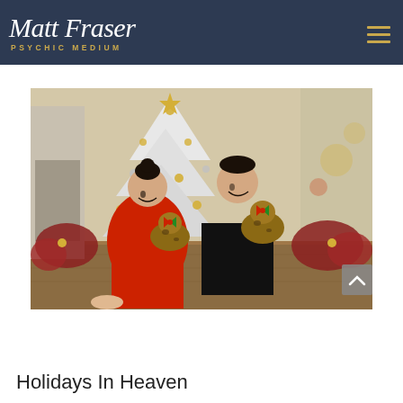Matt Fraser Psychic Medium
[Figure (photo): A couple sitting on a wooden floor in front of a decorated white Christmas tree, holding Bengal cats wearing holiday bows. The woman is wearing a red outfit and the man is in black. Red poinsettias are visible in the background.]
Holidays In Heaven